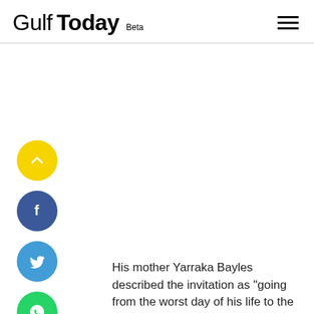Gulf Today Beta
[Figure (infographic): Social share buttons column: up-arrow (yellow), Facebook (blue), Twitter (light blue), WhatsApp (green), Email (grey)]
His mother Yarraka Bayles described the invitation as "going from the worst day of his life to the best day of his life.